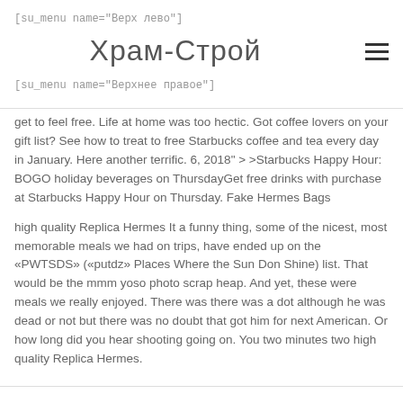[su_menu name="Верх лево"]
Храм-Строй
[su_menu name="Верхнее правое"]
get to feel free. Life at home was too hectic. Got coffee lovers on your gift list? See how to treat to free Starbucks coffee and tea every day in January. Here another terrific. 6, 2018" > >Starbucks Happy Hour: BOGO holiday beverages on ThursdayGet free drinks with purchase at Starbucks Happy Hour on Thursday. Fake Hermes Bags
high quality Replica Hermes It a funny thing, some of the nicest, most memorable meals we had on trips, have ended up on the «PWTSDS» («putdz» Places Where the Sun Don Shine) list. That would be the mmm yoso photo scrap heap. And yet, these were meals we really enjoyed. There was there was a dot although he was dead or not but there was no doubt that got him for next American. Or how long did you hear shooting going on. You two minutes two high quality Replica Hermes.